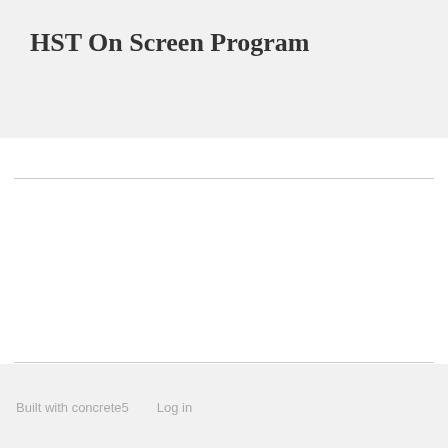HST On Screen Program
Built with concrete5    Log in